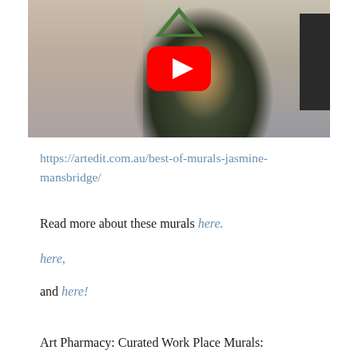[Figure (screenshot): YouTube video thumbnail showing a woman in a plaid dress standing in a room with murals. A red YouTube play button overlay is visible in the center.]
https://artedit.com.au/best-of-murals-jasmine-mansbridge/
Read more about these murals here.
here,
and here!
Art Pharmacy: Curated Work Place Murals: